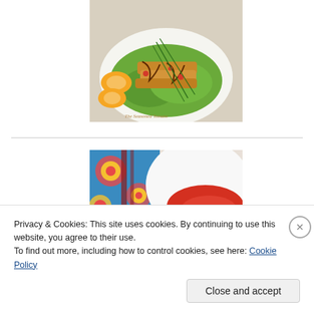[Figure (photo): Food photo showing grilled chicken on lettuce wraps with orange slices and chives, with watermark 'The Seasoned Tomato']
[Figure (photo): Food photo showing a colorful patterned fabric/bowl and a white plate with red sauce]
Privacy & Cookies: This site uses cookies. By continuing to use this website, you agree to their use.
To find out more, including how to control cookies, see here: Cookie Policy
Close and accept